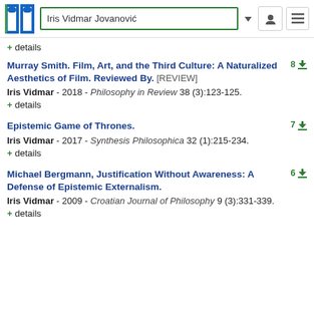Iris Vidmar Jovanovic
+ details
Murray Smith. Film, Art, and the Third Culture: A Naturalized Aesthetics of Film. Reviewed By. [REVIEW]
Iris Vidmar - 2018 - Philosophy in Review 38 (3):123-125.
+ details
Epistemic Game of Thrones.
Iris Vidmar - 2017 - Synthesis Philosophica 32 (1):215-234.
+ details
Michael Bergmann, Justification Without Awareness: A Defense of Epistemic Externalism.
Iris Vidmar - 2009 - Croatian Journal of Philosophy 9 (3):331-339.
+ details